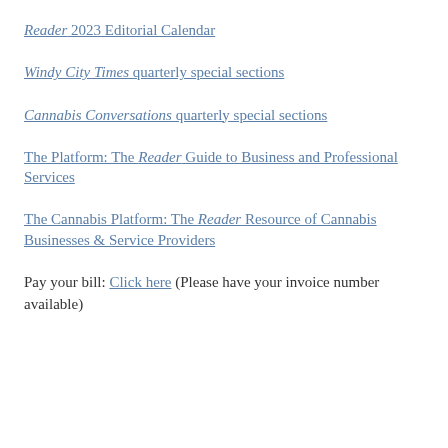Reader 2023 Editorial Calendar
Windy City Times quarterly special sections
Cannabis Conversations quarterly special sections
The Platform: The Reader Guide to Business and Professional Services
The Cannabis Platform: The Reader Resource of Cannabis Businesses & Service Providers
Pay your bill: Click here (Please have your invoice number available)